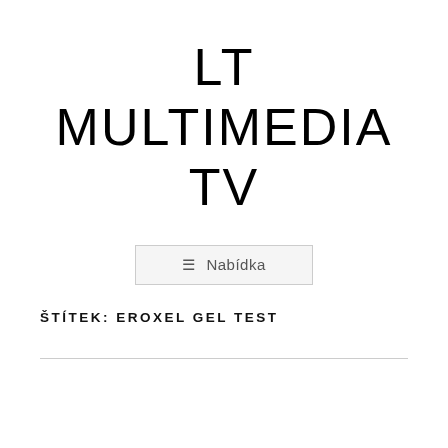LT MULTIMEDIA TV
≡ Nabídka
ŠTÍTEK: EROXEL GEL TEST